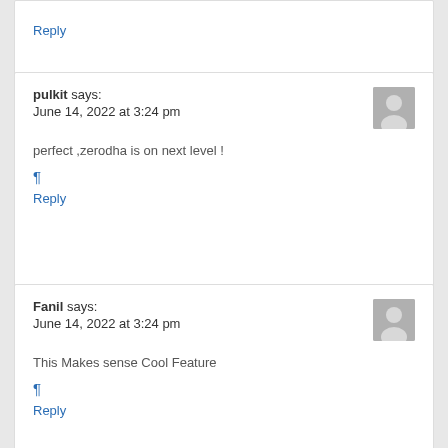Reply
pulkit says:
June 14, 2022 at 3:24 pm
perfect ,zerodha is on next level !
¶
Reply
Fanil says:
June 14, 2022 at 3:24 pm
This Makes sense Cool Feature
¶
Reply